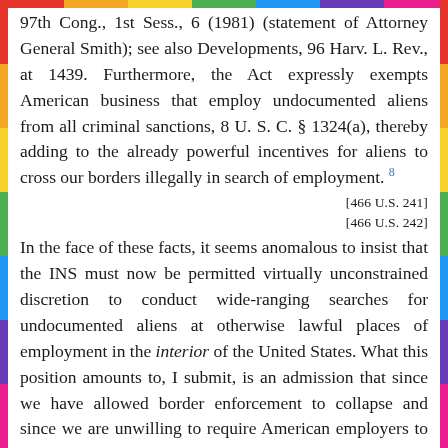97th Cong., 1st Sess., 6 (1981) (statement of Attorney General Smith); see also Developments, 96 Harv. L. Rev., at 1439. Furthermore, the Act expressly exempts American business that employ undocumented aliens from all criminal sanctions, 8 U. S. C. § 1324(a), thereby adding to the already powerful incentives for aliens to cross our borders illegally in search of employment. 8
[466 U.S. 241]
[466 U.S. 242]
In the face of these facts, it seems anomalous to insist that the INS must now be permitted virtually unconstrained discretion to conduct wide-ranging searches for undocumented aliens at otherwise lawful places of employment in the interior of the United States. What this position amounts to, I submit, is an admission that since we have allowed border enforcement to collapse and since we are unwilling to require American employers to share any of the blame, we must, as a